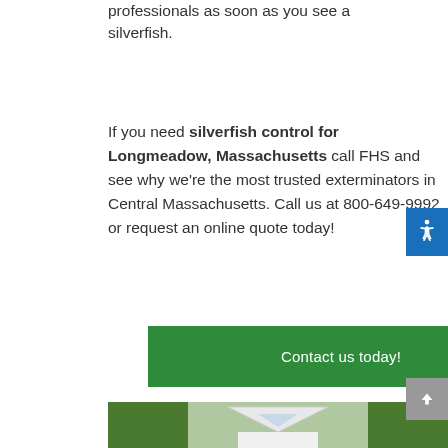professionals as soon as you see a silverfish.
If you need silverfish control for Longmeadow, Massachusetts call FHS and see why we're the most trusted exterminators in Central Massachusetts. Call us at 800-649-9992 or request an online quote today!
Contact us today!
[Figure (photo): Photo of a white house with a triangular roof gable surrounded by tall trees]